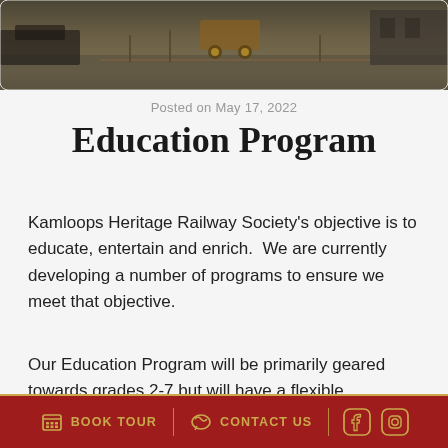[Figure (photo): Aerial photo of a railway heritage site with vintage equipment and wagons visible from above]
Posted on May 17, 2022
Education Program
Kamloops Heritage Railway Society's objective is to educate, entertain and enrich.  We are currently developing a number of programs to ensure we meet that objective.
Our Education Program will be primarily geared towards grades 2-7 but will have a flexible curriculum
BOOK TOUR | CONTACT US | [Facebook] [Instagram]